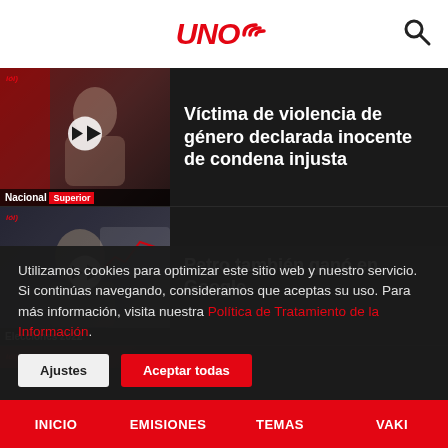UNO))
Víctima de violencia de género declarada inocente de condena injusta
Petro también ganó en Google
Consejos financieros para emprendedores
Utilizamos cookies para optimizar este sitio web y nuestro servicio. Si continúas navegando, consideramos que aceptas su uso. Para más información, visita nuestra Política de Tratamiento de la Información.
Ajustes | Aceptar todas
INICIO | EMISIONES | TEMAS | VAKI